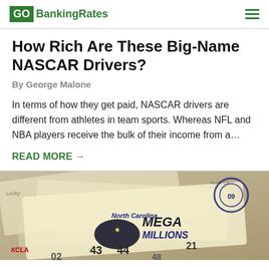GO BankingRates
How Rich Are These Big-Name NASCAR Drivers?
By George Malone
In terms of how they get paid, NASCAR drivers are different from athletes in team sports. Whereas NFL and NBA players receive the bulk of their income from a...
READ MORE →
[Figure (photo): Close-up photo of North Carolina Mega Millions lottery tickets showing numbers 43, 44, 21 and other lottery details]